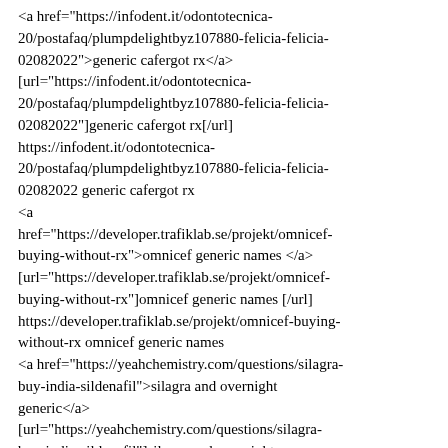<a href="https://infodent.it/odontotecnica-20/postafaq/plumpdelightbyz107880-felicia-felicia-02082022">generic cafergot rx</a> [url="https://infodent.it/odontotecnica-20/postafaq/plumpdelightbyz107880-felicia-felicia-02082022"]generic cafergot rx[/url] https://infodent.it/odontotecnica-20/postafaq/plumpdelightbyz107880-felicia-felicia-02082022 generic cafergot rx <a href="https://developer.trafiklab.se/projekt/omnicef-buying-without-rx">omnicef generic names </a> [url="https://developer.trafiklab.se/projekt/omnicef-buying-without-rx"]omnicef generic names [/url] https://developer.trafiklab.se/projekt/omnicef-buying-without-rx omnicef generic names <a href="https://yeahchemistry.com/questions/silagra-buy-india-sildenafil">silagra and overnight generic</a> [url="https://yeahchemistry.com/questions/silagra-buy-india-sildenafil"]silagra and overnight generic[/url] https://yeahchemistry.com/questions/silagra-buy-india-sildenafil silagra and overnight generic <a href="https://fresnolibrary.bookpoints.org/review/acivir...